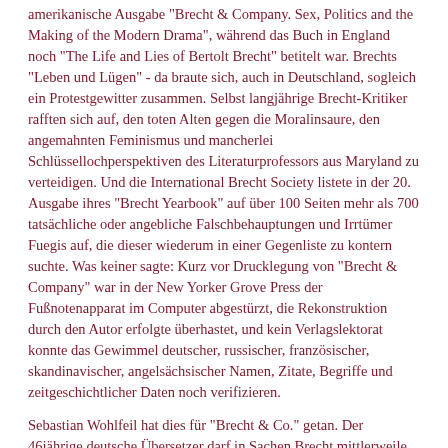amerikanische Ausgabe "Brecht & Company. Sex, Politics and the Making of the Modern Drama", während das Buch in England noch "The Life and Lies of Bertolt Brecht" betitelt war. Brechts "Leben und Lügen" - da braute sich, auch in Deutschland, sogleich ein Protestgewitter zusammen. Selbst langjährige Brecht-Kritiker rafften sich auf, den toten Alten gegen die Moralinsaure, den angemahnten Feminismus und mancherlei Schlüssellochperspektiven des Literaturprofessors aus Maryland zu verteidigen. Und die International Brecht Society listete in der 20. Ausgabe ihres "Brecht Yearbook" auf über 100 Seiten mehr als 700 tatsächliche oder angebliche Falschbehauptungen und Irrtümer Fuegis auf, die dieser wiederum in einer Gegenliste zu kontern suchte. Was keiner sagte: Kurz vor Drucklegung von "Brecht & Company" war in der New Yorker Grove Press der Fußnotenapparat im Computer abgestürzt, die Rekonstruktion durch den Autor erfolgte überhastet, und kein Verlagslektorat konnte das Gewimmel deutscher, russischer, französischer, skandinavischer, angelsächsischer Namen, Zitate, Begriffe und zeitgeschichtlicher Daten noch verifizieren.
Sebastian Wohlfeil hat dies für "Brecht & Co." getan. Der 46jährige deutsche Übersetzer darf in Sachen Brecht mittlerweile als Habilitationsreif gelten. Gegenüber der angelsächsischen Erstausgabe ist der deutsche Text mitsamt seinen fast 1700 Anmerkungen um gut 30 Prozent angewachsen.